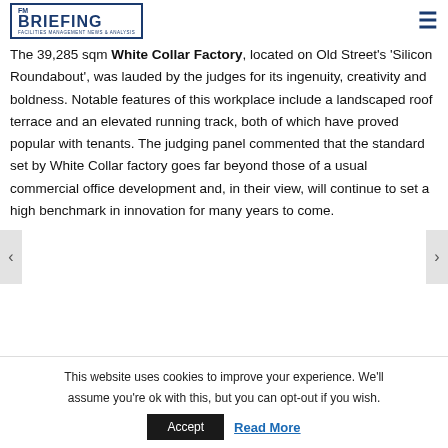FM Briefing - Facilities Management News & Analysis
The 39,285 sqm White Collar Factory, located on Old Street's 'Silicon Roundabout', was lauded by the judges for its ingenuity, creativity and boldness. Notable features of this workplace include a landscaped roof terrace and an elevated running track, both of which have proved popular with tenants. The judging panel commented that the standard set by White Collar factory goes far beyond those of a usual commercial office development and, in their view, will continue to set a high benchmark in innovation for many years to come.
This website uses cookies to improve your experience. We'll assume you're ok with this, but you can opt-out if you wish.
Accept | Read More